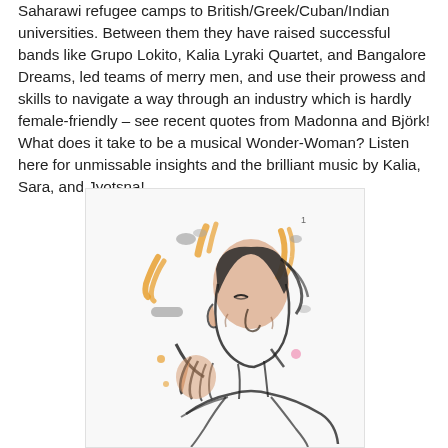Saharawi refugee camps to British/Greek/Cuban/Indian universities. Between them they have raised successful bands like Grupo Lokito, Kalia Lyraki Quartet, and Bangalore Dreams, led teams of merry men, and use their prowess and skills to navigate a way through an industry which is hardly female-friendly – see recent quotes from Madonna and Björk! What does it take to be a musical Wonder-Woman? Listen here for unmissable insights and the brilliant music by Kalia, Sara, and Jyotsna!
[Figure (illustration): A sketch illustration of a woman with her hands raised, clapping or gesturing, surrounded by orange arrow-like brushstrokes and grey marks. The figure is drawn in a loose, expressive style with black ink lines and orange/skin-tone watercolor washes.]